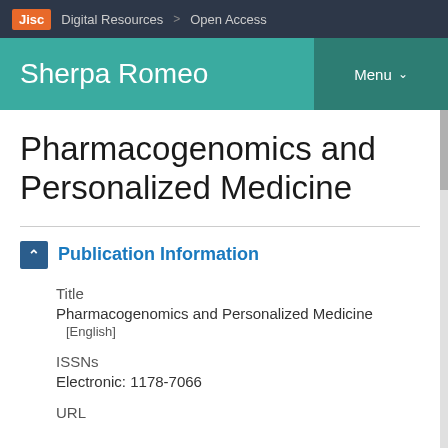Jisc | Digital Resources > Open Access
Sherpa Romeo | Menu
Pharmacogenomics and Personalized Medicine
Publication Information
Title
Pharmacogenomics and Personalized Medicine
[English]
ISSNs
Electronic: 1178-7066
URL